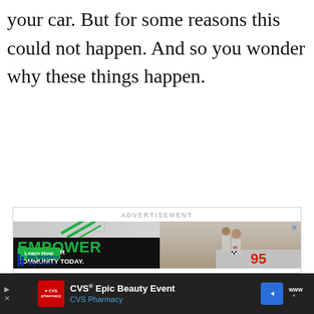your car. But for some reasons this could not happen. And so you wonder why these things happen.
[Figure (infographic): Advertisement banner with 'ADVERTISEMENT' label. Big Brothers Big Sisters ad: left half shows black background with green 'EMPOWER' text, 'A KID IN YOUR COMMUNITY TODAY.' subtext, green 'Learn How' button, BBBS logo; right half shows photo of adult man and young boy (wearing racing shirt #95) looking at something together. Close X button in top right corner.]
[Figure (infographic): Bottom advertisement bar (dark background): CVS Pharmacy ad showing red CVS logo, 'CVS® Epic Beauty Event' title in white, 'CVS Pharmacy' subtitle in blue, blue diamond navigation icon, weather icon on right side. Play/close controls on left.]